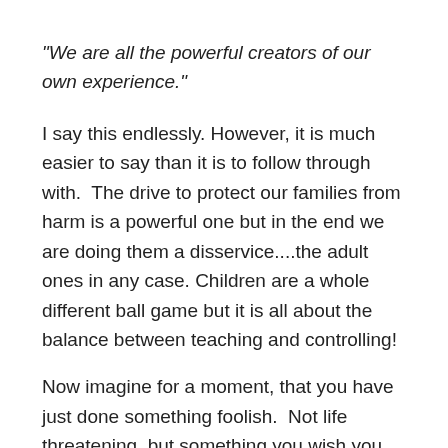"We are all the powerful creators of our own experience."
I say this endlessly. However, it is much easier to say than it is to follow through with.  The drive to protect our families from harm is a powerful one but in the end we are doing them a disservice....the adult ones in any case. Children are a whole different ball game but it is all about the balance between teaching and controlling!
Now imagine for a moment, that you have just done something foolish.  Not life threatening, but something you wish you had not done nonetheless.  Say, gone to the shops with odd